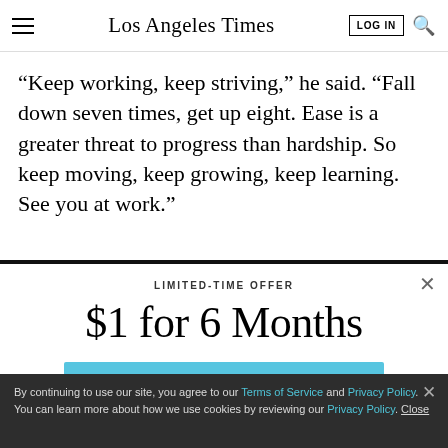Los Angeles Times
“Keep working, keep striving,” he said. “Fall down seven times, get up eight. Ease is a greater threat to progress than hardship. So keep moving, keep growing, keep learning. See you at work.”
LIMITED-TIME OFFER
$1 for 6 Months
SUBSCRIBE NOW
By continuing to use our site, you agree to our Terms of Service and Privacy Policy. You can learn more about how we use cookies by reviewing our Privacy Policy. Close